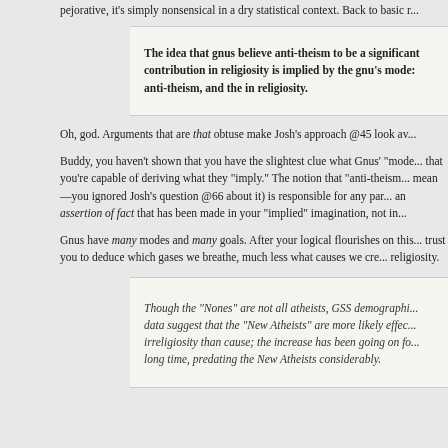pejorative, it's simply nonsensical in a dry statistical context. Back to basic r...
The idea that gnus believe anti-theism to be a significant contributor in religiosity is implied by the gnu's mode: anti-theism, and the in religiosity.
Oh, god. Arguments that are that obtuse make Josh's approach @45 look av...
Buddy, you haven't shown that you have the slightest clue what Gnus' "mode" that you're capable of deriving what they "imply." The notion that "anti-theism mean—you ignored Josh's question @66 about it) is responsible for any par an assertion of fact that has been made in your "implied" imagination, not in
Gnus have many modes and many goals. After your logical flourishes on this trust you to deduce which gases we breathe, much less what causes we cre religiosity.
Though the “Nones” are not all atheists, GSS demographic data suggest that the “New Atheists” are more likely effect irreligiosity than cause; the increase has been going on for a long time, predating the New Atheists considerably.